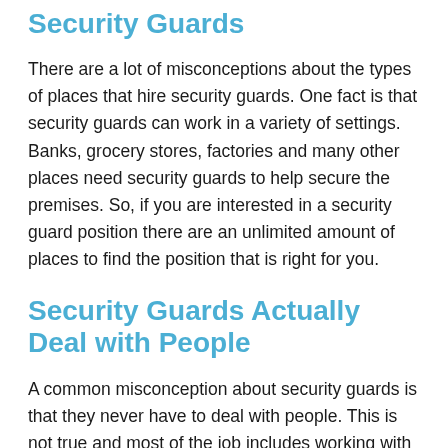Security Guards
There are a lot of misconceptions about the types of places that hire security guards. One fact is that security guards can work in a variety of settings. Banks, grocery stores, factories and many other places need security guards to help secure the premises. So, if you are interested in a security guard position there are an unlimited amount of places to find the position that is right for you.
Security Guards Actually Deal with People
A common misconception about security guards is that they never have to deal with people. This is not true and most of the job includes working with a variety of different people. It's a career that involves being flexible and getting along with a diverse group of people. Those of you who are looking into a security guard job should know that dealing with people will be an essential part of the job.